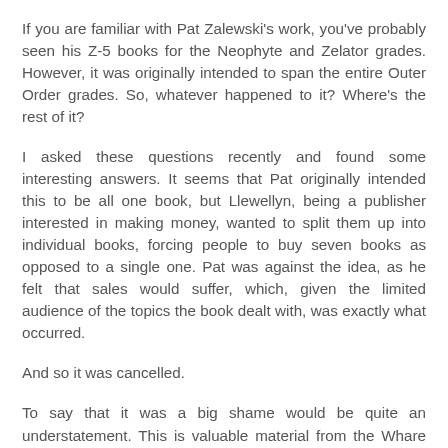If you are familiar with Pat Zalewski's work, you've probably seen his Z-5 books for the Neophyte and Zelator grades. However, it was originally intended to span the entire Outer Order grades. So, whatever happened to it? Where's the rest of it?
I asked these questions recently and found some interesting answers. It seems that Pat originally intended this to be all one book, but Llewellyn, being a publisher interested in making money, wanted to split them up into individual books, forcing people to buy seven books as opposed to a single one. Pat was against the idea, as he felt that sales would suffer, which, given the limited audience of the topics the book dealt with, was exactly what occurred.
And so it was cancelled.
To say that it was a big shame would be quite an understatement. This is valuable material from the Whare Ra lodge that all serious Golden Dawn students should have access to. Knowing this, Pat decided to self-publish it as a